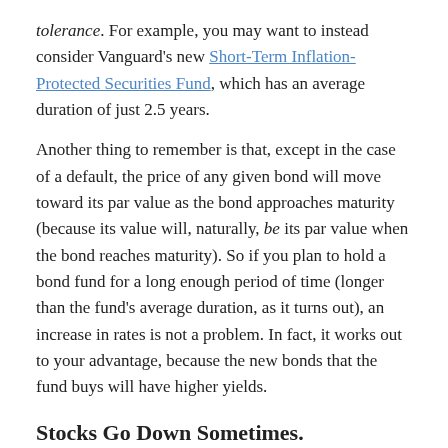tolerance. For example, you may want to instead consider Vanguard's new Short-Term Inflation-Protected Securities Fund, which has an average duration of just 2.5 years.
Another thing to remember is that, except in the case of a default, the price of any given bond will move toward its par value as the bond approaches maturity (because its value will, naturally, be its par value when the bond reaches maturity). So if you plan to hold a bond fund for a long enough period of time (longer than the fund's average duration, as it turns out), an increase in rates is not a problem. In fact, it works out to your advantage, because the new bonds that the fund buys will have higher yields.
Stocks Go Down Sometimes.
With regard to the losses incurred by domestic and international stocks this month, the “this is no big deal” message is even stronger. A loss of less than 10% (and less than 5% for domestic stocks!) is the sort of thing you need to be very comfortable with if